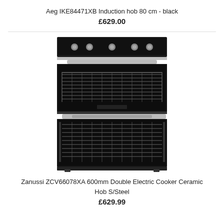Aeg IKE84471XB Induction hob 80 cm - black
£629.00
[Figure (photo): Zanussi ZCV66078XA 600mm Double Electric Cooker with Ceramic Hob in Stainless Steel, showing front view with two oven compartments and control knobs]
Zanussi ZCV66078XA 600mm Double Electric Cooker Ceramic Hob S/Steel
£629.99